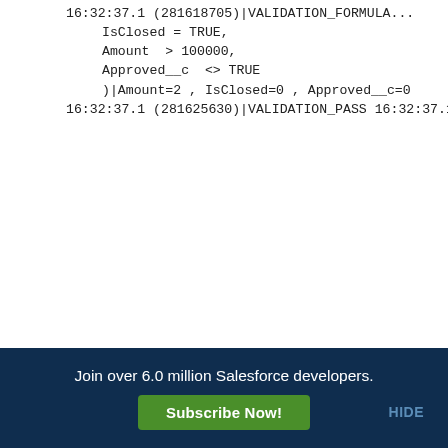16:32:37.1 (281618705)|VALIDATION_FORMULA...
IsClosed = TRUE,
Amount  > 100000,
Approved__c  <> TRUE
)|Amount=2 , IsClosed=0 , Approved__c=0
16:32:37.1 (281625630)|VALIDATION_PASS
16:32:37.1 (281677312)|CODE_UNIT_FINISHED|V...
16:32:37.1 (304030905)|CODE_UNIT_STARTED|[B...
16:32:37.1 (312029237)|WF_RULE_EVAL_BEGIN|...
16:32:37.1 (312067136)|WF_CRITERIA_BEGIN|[O...
0060Y00000AodDC]|Sales_Automation3010Y000...
S|0
16:32:37.1 (312107050)|WF_FORMULA|Formula:...
16:32:37.1 (312113386)|WF_CRITERIA_END|true
16:32:37.1 (312130698)|WF_SPOOL_ACTION_BE...
16:32:37.1 (312151325)|WF_ACTION| Flow Trigg...
16:32:37.1 (312154960)|WF_RULE_EVAL_END
16:32:37.1 (312177347)|WF_FLOW_ACTION_BEG...
Join over 6.0 million Salesforce developers.
Subscribe Now!
HIDE